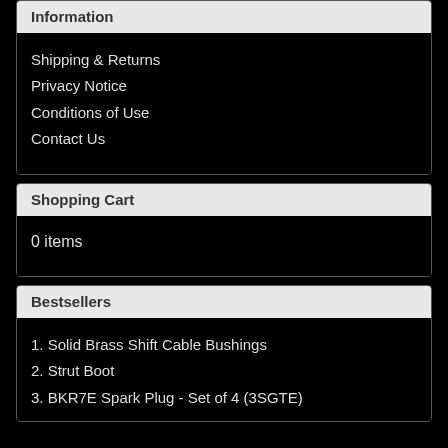Information
Shipping & Returns
Privacy Notice
Conditions of Use
Contact Us
Shopping Cart
0 items
Bestsellers
1. Solid Brass Shift Cable Bushings
2. Strut Boot
3. BKR7E Spark Plug - Set of 4 (3SGTE)